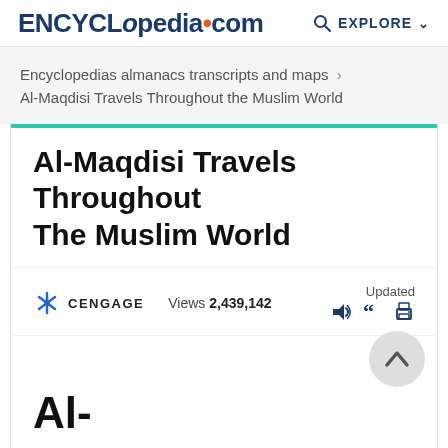ENCYCLopedia•com   EXPLORE
Encyclopedias almanacs transcripts and maps › Al-Maqdisi Travels Throughout the Muslim World
Al-Maqdisi Travels Throughout The Muslim World
CENGAGE   Views 2,439,142   Updated
Al-